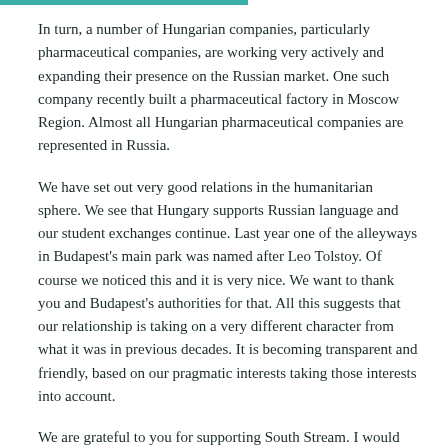In turn, a number of Hungarian companies, particularly pharmaceutical companies, are working very actively and expanding their presence on the Russian market. One such company recently built a pharmaceutical factory in Moscow Region. Almost all Hungarian pharmaceutical companies are represented in Russia.
We have set out very good relations in the humanitarian sphere. We see that Hungary supports Russian language and our student exchanges continue. Last year one of the alleyways in Budapest's main park was named after Leo Tolstoy. Of course we noticed this and it is very nice. We want to thank you and Budapest's authorities for that. All this suggests that our relationship is taking on a very different character from what it was in previous decades. It is becoming transparent and friendly, based on our pragmatic interests taking those interests into account.
We are grateful to you for supporting South Stream. I would